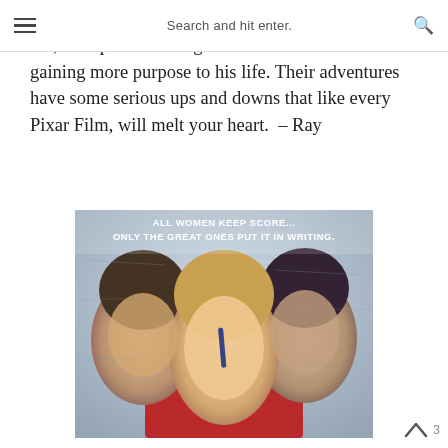Search and hit enter.
seem like she wants to leave. Smitten, Wall-e joins her, in hopes of finding out more with her and gaining more purpose to his life. Their adventures have some serious ups and downs that like every Pixar Film, will melt your heart.  – Ray
[Figure (photo): Movie poster for Bridget Jones's Diary showing three people – two men and a woman in the center holding a pen to her lips and reading a red book. Tagline reads: ALL WOMEN KEEP SCORE... ONLY THE GREAT ONES PUT IT IN WRITING.]